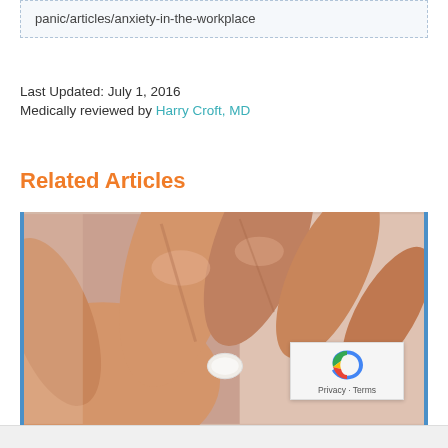panic/articles/anxiety-in-the-workplace
Last Updated: July 1, 2016
Medically reviewed by Harry Croft, MD
Related Articles
[Figure (photo): Close-up photo of a hand holding a small white pill between fingers, with blurred background]